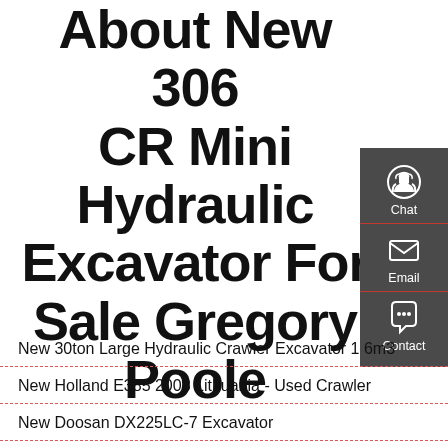About New 306 CR Mini Hydraulic Excavator For Sale Gregory Poole
[Figure (infographic): Dark grey sidebar panel with three contact options: Chat (headset icon), Email (envelope icon), Contact (speech bubble with dots icon), separated by red horizontal lines.]
New 30ton Large Hydraulic Crawler Excavator 1 6m3
New Holland E385 2008 Lithuania - Used Crawler
New Doosan DX225LC-7 Excavator